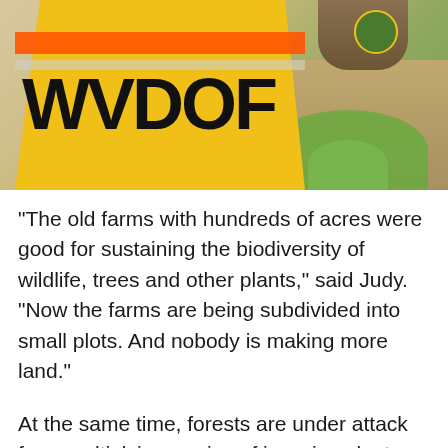[Figure (photo): Person wearing a yellow high-visibility safety vest labeled 'WVDOF' with orange reflective stripes, standing outdoors near bare ground and grass]
“The old farms with hundreds of acres were good for sustaining the biodiversity of wildlife, trees and other plants,” said Judy. “Now the farms are being subdivided into small plots. And nobody is making more land.”
At the same time, forests are under attack from multiplying armies of invasive plants, insects and pathogens – threats that did not previously exist in the forest’s environment and against which many